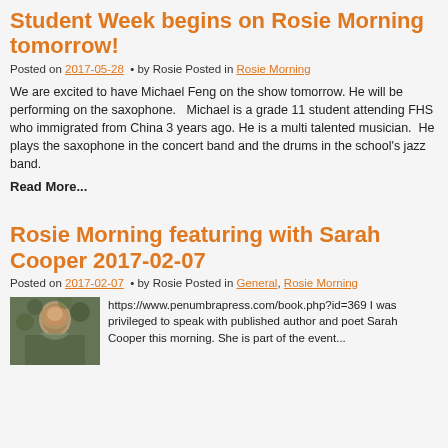Student Week begins on Rosie Morning tomorrow!
Posted on 2017-05-28 • by Rosie Posted in Rosie Morning
We are excited to have Michael Feng on the show tomorrow. He will be performing on the saxophone.   Michael is a grade 11 student attending FHS who immigrated from China 3 years ago. He is a multi talented musician.  He plays the saxophone in the concert band and the drums in the school's jazz band.
Read More...
Rosie Morning featuring with Sarah Cooper 2017-02-07
Posted on 2017-02-07 • by Rosie Posted in General, Rosie Morning
[Figure (photo): Portrait photo of Sarah Cooper outdoors with trees in background]
https://www.penumbrapress.com/book.php?id=369 I was privileged to speak with published author and poet Sarah Cooper this morning.  She is part of the event...